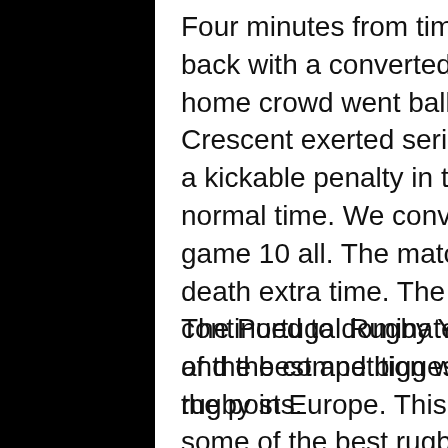Four minutes from time CF Belenenses hit back with a converted try to lead 10-7. The home crowd went ballistic. However, Old Crescent exerted serious pressure to earn a kickable penalty in the last minute of normal time. We converted this to draw the game 10 all. The match went to sudden death extra time. The Limerick boys continued to dominate and won the game and the competition with a penalty under the posts.
The Portugal Rugby Youth Festival is one of the best and biggest events for youth rugby in Europe. This festival welcomes some of the best rugby clubs from across Europe and it hosts around 300 games during the weekend. About 2,000 young players are distributed over 80 teams in four different age groups (from U12 to